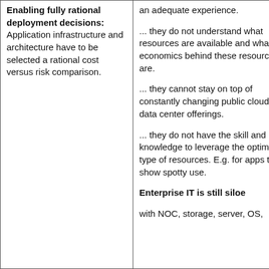Enabling fully rational deployment decisions: Application infrastructure and architecture have to be selected a rational cost versus risk comparison.
an adequate experience.

... they do not understand what resources are available and what the economics behind these resources are.

... they cannot stay on top of constantly changing public cloud and data center offerings.

... they do not have the skill and knowledge to leverage the optimal type of resources. E.g. for apps that show spotty use.

Enterprise IT is still siloe

with NOC, storage, server, OS,